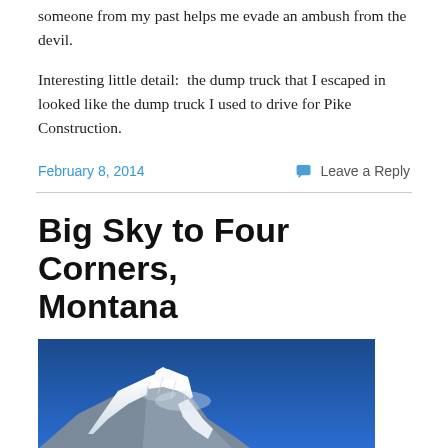someone from my past helps me evade an ambush from the devil.
Interesting little detail:  the dump truck that I escaped in looked like the dump truck I used to drive for Pike Construction.
February 8, 2014
Leave a Reply
Big Sky to Four Corners, Montana
[Figure (photo): Snow-capped mountain peak against a deep blue sky, with forested slopes at the base and snow textures visible on the rocky summit.]